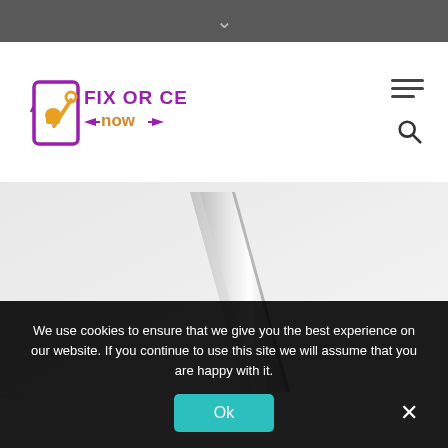[Figure (logo): Fix Or Cell Now logo with a hand holding a cell phone and wrench graphic, purple and orange coloring]
[Figure (photo): Samsung product image showing a thin silver tablet or phone edge on a light gray background, with SAMSUNG text in upper left]
We use cookies to ensure that we give you the best experience on our website. If you continue to use this site we will assume that you are happy with it.